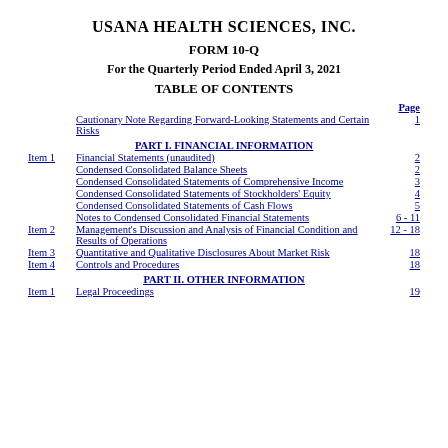USANA HEALTH SCIENCES, INC.
FORM 10-Q
For the Quarterly Period Ended April 3, 2021
TABLE OF CONTENTS
|  | Description | Page |
| --- | --- | --- |
|  | Cautionary Note Regarding Forward-Looking Statements and Certain Risks | 1 |
|  | PART I. FINANCIAL INFORMATION |  |
| Item 1 | Financial Statements (unaudited) | 2 |
|  | Condensed Consolidated Balance Sheets | 2 |
|  | Condensed Consolidated Statements of Comprehensive Income | 3 |
|  | Condensed Consolidated Statements of Stockholders' Equity | 4 |
|  | Condensed Consolidated Statements of Cash Flows | 5 |
|  | Notes to Condensed Consolidated Financial Statements | 6 - 11 |
| Item 2 | Management's Discussion and Analysis of Financial Condition and Results of Operations | 12 - 18 |
| Item 3 | Quantitative and Qualitative Disclosures About Market Risk | 18 |
| Item 4 | Controls and Procedures | 18 |
|  | PART II. OTHER INFORMATION |  |
| Item 1 | Legal Proceedings | 19 |